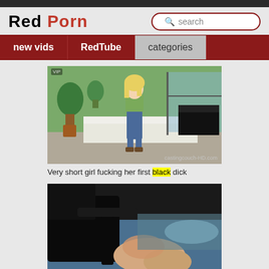Red Porn
[Figure (screenshot): Video thumbnail showing a blonde woman standing in a room with a bed and plants]
Very short girl fucking her first black dick
[Figure (screenshot): Video thumbnail showing a sexual act, dark image with Club4K.com watermark]
Tiffany malice first time with big black cock